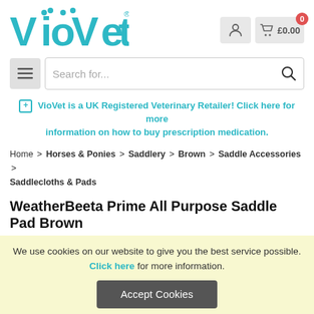[Figure (logo): VioVet logo in teal/cyan color with stylized dots over the 'i' and 'o']
0  £0.00
[Figure (screenshot): Search bar with hamburger menu icon and magnifying glass icon]
⊞ VioVet is a UK Registered Veterinary Retailer! Click here for more information on how to buy prescription medication.
Home > Horses & Ponies > Saddlery > Brown > Saddle Accessories > Saddlecloths & Pads
WeatherBeeta Prime All Purpose Saddle Pad Brown
We use cookies on our website to give you the best service possible. Click here for more information.
Accept Cookies
If you continue to use our website without accepting our cookies we will deem this as acceptance.